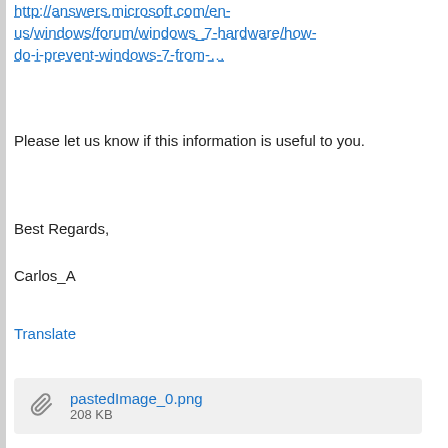http://answers.microsoft.com/en-us/windows/forum/windows_7-hardware/how-do-i-prevent-windows-7-from-…
Please let us know if this information is useful to you.
Best Regards,
Carlos_A
Translate
[Figure (other): Attachment box showing pastedImage_0.png, 208 KB]
0 Kudos
Copy link
Give Feedback